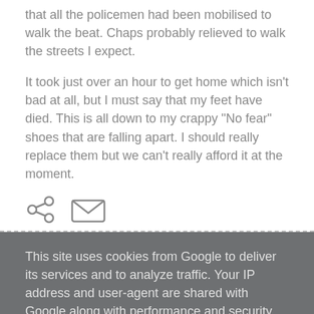that all the policemen had been mobilised to walk the beat. Chaps probably relieved to walk the streets I expect.
It took just over an hour to get home which isn't bad at all, but I must say that my feet have died. This is all down to my crappy "No fear" shoes that are falling apart. I should really replace them but we can't really afford it at the moment.
[Figure (illustration): Share icon and email/envelope icon]
This site uses cookies from Google to deliver its services and to analyze traffic. Your IP address and user-agent are shared with Google along with performance and security metrics to ensure quality of service, generate usage statistics, and to detect and address abuse.
LEARN MORE   OK